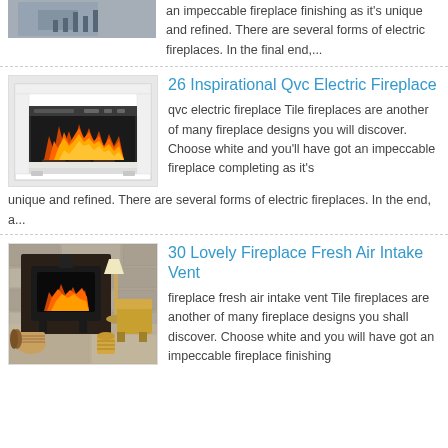[Figure (photo): Partial fireplace/room photo, cropped at top]
an impeccable fireplace finishing as it's unique and refined. There are several forms of electric fireplaces. In the final end,...
[Figure (photo): White electric fireplace insert with glowing orange flame effect]
26 Inspirational Qvc Electric Fireplace
qvc electric fireplace Tile fireplaces are another of many fireplace designs you will discover. Choose white and you'll have got an impeccable fireplace completing as it's unique and refined. There are several forms of electric fireplaces. In the end, a...
[Figure (photo): Rustic stone fireplace with wood burning stove, wicker baskets, lamp and chair]
30 Lovely Fireplace Fresh Air Intake Vent
fireplace fresh air intake vent Tile fireplaces are another of many fireplace designs you shall discover. Choose white and you will have got an impeccable fireplace finishing